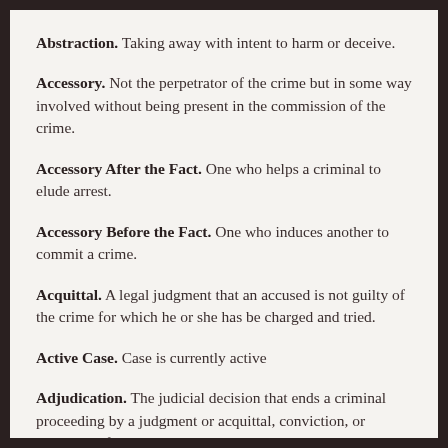Abstraction. Taking away with intent to harm or deceive.
Accessory. Not the perpetrator of the crime but in some way involved without being present in the commission of the crime.
Accessory After the Fact. One who helps a criminal to elude arrest.
Accessory Before the Fact. One who induces another to commit a crime.
Acquittal. A legal judgment that an accused is not guilty of the crime for which he or she has be charged and tried.
Active Case. Case is currently active
Adjudication. The judicial decision that ends a criminal proceeding by a judgment or acquittal, conviction, or dismissal of the case.